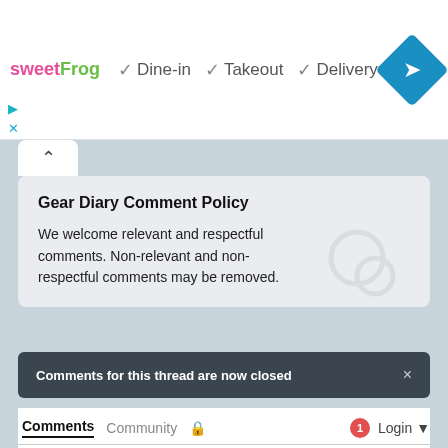[Figure (screenshot): SweetFrog logo with dine-in, takeout, delivery checkmarks and blue navigation diamond icon]
▷
×
[Figure (other): Collapse caret tab]
Gear Diary Comment Policy
We welcome relevant and respectful comments. Non-relevant and non-respectful comments may be removed.
Comments for this thread are now closed
Comments   Community   🔒   1   Login ▾
♡ Favorite   Sort by Oldest ▾